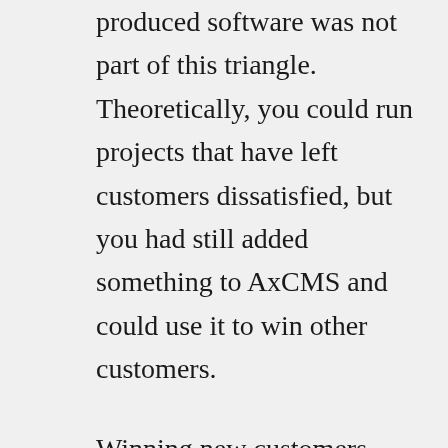produced software was not part of this triangle. Theoretically, you could run projects that have left customers dissatisfied, but you had still added something to AxCMS and could use it to win other customers.
Winning new customers might be harder than winning new projects of an